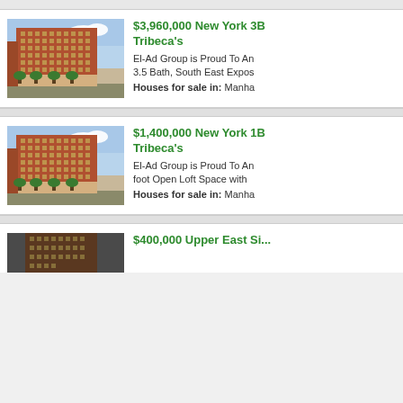$3,960,000 New York 3B Tribeca's
El-Ad Group is Proud To An 3.5 Bath, South East Expos
Houses for sale in: Manha
[Figure (photo): Exterior photo of a large red brick multi-story building in New York, with trees at street level and blue sky]
$1,400,000 New York 1B Tribeca's
El-Ad Group is Proud To An foot Open Loft Space with
Houses for sale in: Manha
[Figure (photo): Exterior photo of the same large red brick multi-story building in New York, with trees at street level and blue sky]
$400,000 Upper East Si...